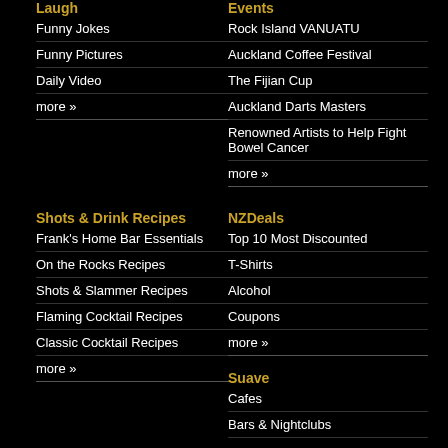Laugh
Funny Jokes
Funny Pictures
Daily Video
more »
Events
Rock Island VANUATU
Auckland Coffee Festival
The Fijian Cup
Auckland Darts Masters
Renowned Artists to Help Fight Bowel Cancer
more »
Shots & Drink Recipes
Frank's Home Bar Essentials
On the Rocks Recipes
Shots & Slammer Recipes
Flaming Cocktail Recipes
Classic Cocktail Recipes
more »
NZDeals
Top 10 Most Discounted
T-Shirts
Alcohol
Coupons
more »
Suave
Cafes
Bars & Nightclubs